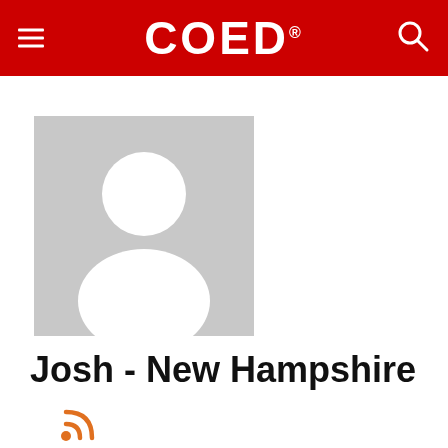COED
[Figure (illustration): Default avatar/silhouette placeholder image showing a generic person outline (head and shoulders) in white on a light grey background]
Josh - New Hampshire
[Figure (other): RSS feed icon in orange]